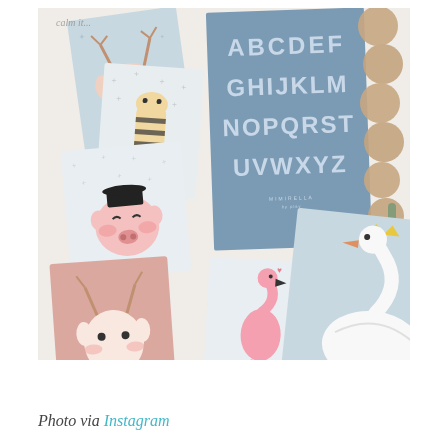[Figure (photo): Flat lay photo of children's illustrated animal postcards (deer, zebra/giraffe, pig, deer with bow, flamingo, swan) scattered on a white surface alongside a blue alphabet poster (ABCDEF GHIJKLM NOPQRST UVWXYZ) and wooden bead garland.]
Photo via Instagram